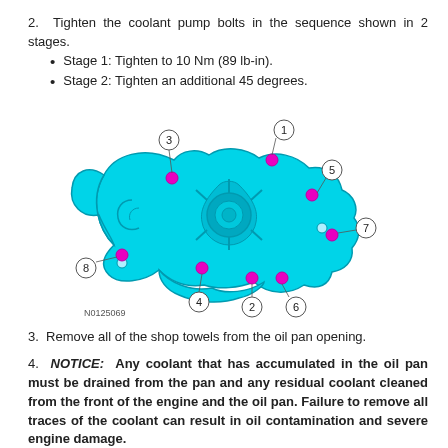2. Tighten the coolant pump bolts in the sequence shown in 2 stages.
Stage 1: Tighten to 10 Nm (89 lb-in).
Stage 2: Tighten an additional 45 degrees.
[Figure (engineering-diagram): Coolant pump bolt tightening sequence diagram showing a cyan/teal colored pump component with 8 numbered bolt positions (magenta dots) labeled 1-8, with reference number N0125069.]
3. Remove all of the shop towels from the oil pan opening.
4. NOTICE: Any coolant that has accumulated in the oil pan must be drained from the pan and any residual coolant cleaned from the front of the engine and the oil pan. Failure to remove all traces of the coolant can result in oil contamination and severe engine damage. Remove the oil pan drain plug and allow any accumulated coolant to drain.